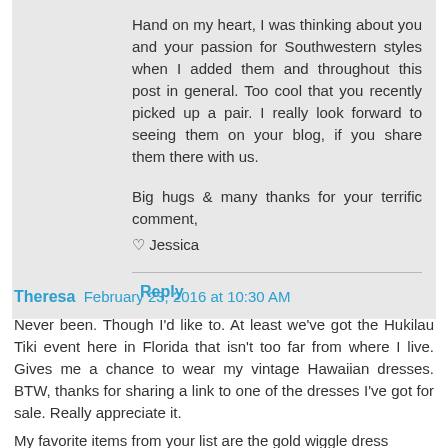Hand on my heart, I was thinking about you and your passion for Southwestern styles when I added them and throughout this post in general. Too cool that you recently picked up a pair. I really look forward to seeing them on your blog, if you share them there with us.

Big hugs & many thanks for your terrific comment,
♥ Jessica
Reply
Theresa  February 23, 2016 at 10:30 AM
Never been. Though I'd like to. At least we've got the Hukilau Tiki event here in Florida that isn't too far from where I live. Gives me a chance to wear my vintage Hawaiian dresses. BTW, thanks for sharing a link to one of the dresses I've got for sale. Really appreciate it.
My favorite items from your list are the gold wiggle dress...